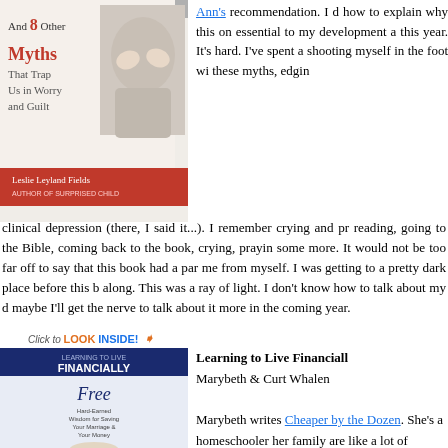[Figure (photo): Book cover: 'And 8 Other Myths That Trap Us in Worry and Guilt' by Leslie Leyland Fields]
Ann's recommendation. I d how to explain why this on essential to my development a this year. It's hard. I've spent a shooting myself in the foot wi these myths, edgin clinical depression (there, I said it...). I remember crying and pr reading, going to the Bible, coming back to the book, crying, prayin some more. It would not be too far off to say that this book had a par me from myself. I was getting to a pretty dark place before this b along. This was a ray of light. I don't know how to talk about my d maybe I'll get the nerve to talk about it more in the coming year.
[Figure (photo): Book cover: 'Learning to Live Financially Free' by Marybeth & Curt Whalen, with 'Click to LOOK INSIDE!' badge]
Learning to Live Financially Free
Marybeth & Curt Whalen

Marybeth writes Cheaper by the Dozen. She's a homeschooler and her family are like a lot of